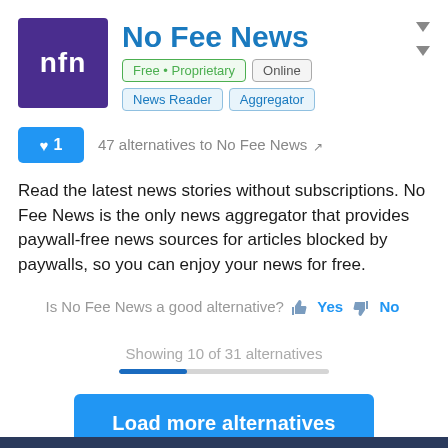No Fee News
Free • Proprietary   Online   News Reader   Aggregator
47 alternatives to No Fee News
Read the latest news stories without subscriptions. No Fee News is the only news aggregator that provides paywall-free news sources for articles blocked by paywalls, so you can enjoy your news for free.
Is No Fee News a good alternative? Yes No
Showing 10 of 31 alternatives
Load more alternatives